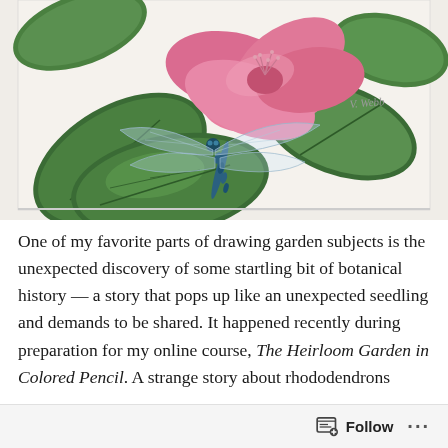[Figure (illustration): Colored pencil illustration of a pink rhododendron flower with green leaves and a blue dragonfly resting on a leaf. Artist signature 'V. Webb' visible in upper right area.]
One of my favorite parts of drawing garden subjects is the unexpected discovery of some startling bit of botanical history — a story that pops up like an unexpected seedling and demands to be shared. It happened recently during preparation for my online course, The Heirloom Garden in Colored Pencil. A strange story about rhododendrons
Follow ···